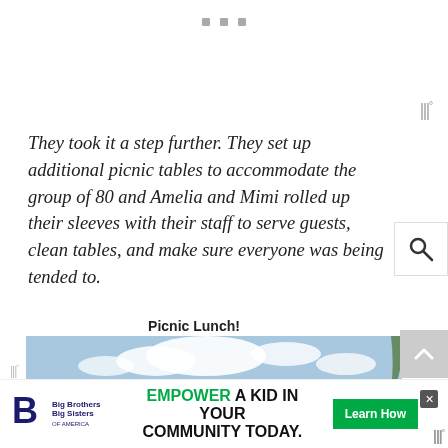They took it a step further. They set up additional picnic tables to accommodate the group of 80 and Amelia and Mimi rolled up their sleeves with their staff to serve guests, clean tables, and make sure everyone was being tended to.
Picnic Lunch!
[Figure (photo): Outdoor picnic scene at a beach or waterfront with umbrellas, tables, and people gathered under a partly cloudy sky.]
[Figure (other): Advertisement banner: Big Brothers Big Sisters logo with text 'EMPOWER A KID IN YOUR COMMUNITY TODAY.' and a green 'Learn How' button.]